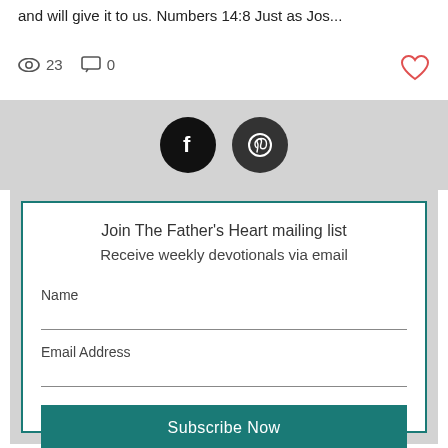...and will give it to us. Numbers 14:8 Just as Jos...
23  0
[Figure (infographic): Social media icons: Facebook (f) and Pinterest (P) as white icons on black circles, on a light gray background bar]
Join The Father's Heart mailing list
Receive weekly devotionals via email
Name
Email Address
Subscribe Now